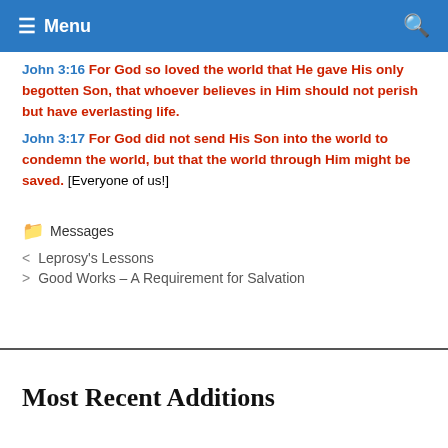Menu
John 3:16 For God so loved the world that He gave His only begotten Son, that whoever believes in Him should not perish but have everlasting life.
John 3:17 For God did not send His Son into the world to condemn the world, but that the world through Him might be saved. [Everyone of us!]
Messages
< Leprosy's Lessons
> Good Works – A Requirement for Salvation
Most Recent Additions